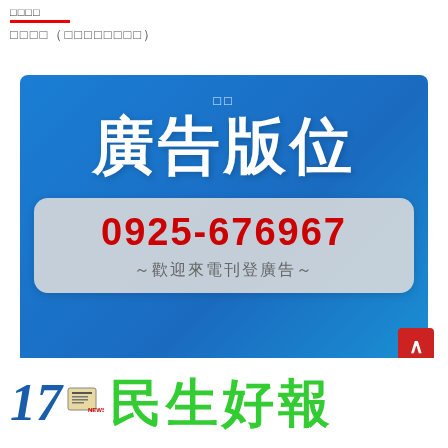□□□□
□□□□（□□□□□□□□）
[Figure (infographic): Blue advertisement banner with large white Chinese text '廣告版位' (advertising space), a phone number 0925-676967 in red on a light grey rounded box, and subtitle '～歡迎來電刊登廣告～']
0925-676967
～歡迎來電刊登廣告～
17 民生好報